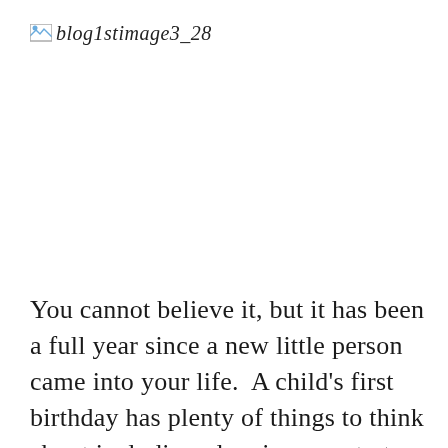[Figure (other): Broken image placeholder icon with italic text label 'blog1stimage3_28']
You cannot believe it, but it has been a full year since a new little person came into your life.  A child's first birthday has plenty of things to think about including planning a party to celebrate with your friends and